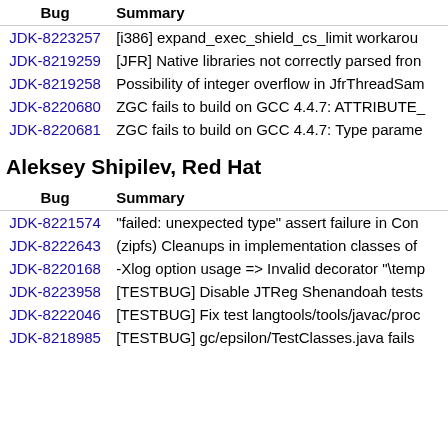| Bug | Summary |
| --- | --- |
| JDK-8223257 | [i386] expand_exec_shield_cs_limit workarou… |
| JDK-8219259 | [JFR] Native libraries not correctly parsed fron… |
| JDK-8219258 | Possibility of integer overflow in JfrThreadSam… |
| JDK-8220680 | ZGC fails to build on GCC 4.4.7: ATTRIBUTE_… |
| JDK-8220681 | ZGC fails to build on GCC 4.4.7: Type parame… |
Aleksey Shipilev, Red Hat
| Bug | Summary |
| --- | --- |
| JDK-8221574 | "failed: unexpected type" assert failure in Con… |
| JDK-8222643 | (zipfs) Cleanups in implementation classes of… |
| JDK-8220168 | -Xlog option usage => Invalid decorator "\temp… |
| JDK-8223958 | [TESTBUG] Disable JTReg Shenandoah tests… |
| JDK-8222046 | [TESTBUG] Fix test langtools/tools/javac/proc… |
| JDK-8218985 | [TESTBUG] gc/epsilon/TestClasses.java fails … |